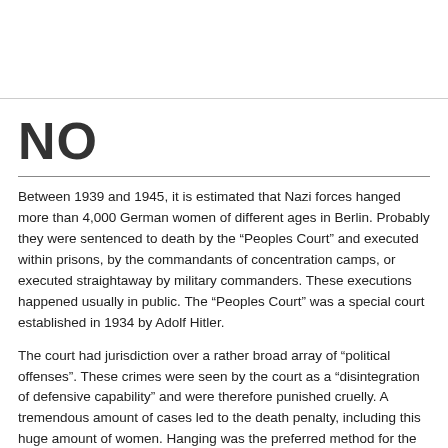NO
Between 1939 and 1945, it is estimated that Nazi forces hanged more than 4,000 German women of different ages in Berlin. Probably they were sentenced to death by the “Peoples Court” and executed within prisons, by the commandants of concentration camps, or executed straightaway by military commanders. These executions happened usually in public. The “Peoples Court” was a special court established in 1934 by Adolf Hitler.
The court had jurisdiction over a rather broad array of “political offenses”. These crimes were seen by the court as a “disintegration of defensive capability” and were therefore punished cruelly. A tremendous amount of cases led to the death penalty, including this huge amount of women. Hanging was the preferred method for the execution of partisans as it produced more of a public spectacle than shooting. It was also used to terrorize the local populace as